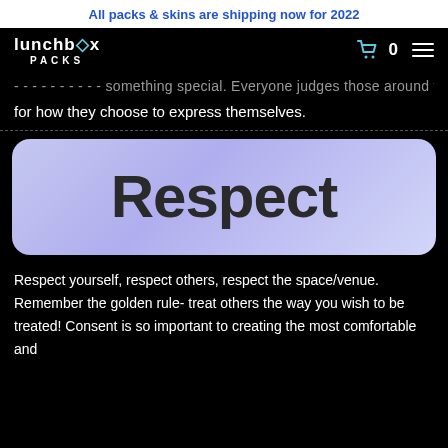All packs & skins are shipping now for 2022
[Figure (logo): Lunchbox Packs logo with cart icon and hamburger menu]
...something special. Everyone judges those around you for how they choose to express themselves.
[Figure (illustration): Lavender/purple gradient rounded rectangle card with the word 'Respect' in large bold dark text]
Respect yourself, respect others, respect the space/venue. Remember the golden rule- treat others the way you wish to be treated! Consent is so important to creating the most comfortable and